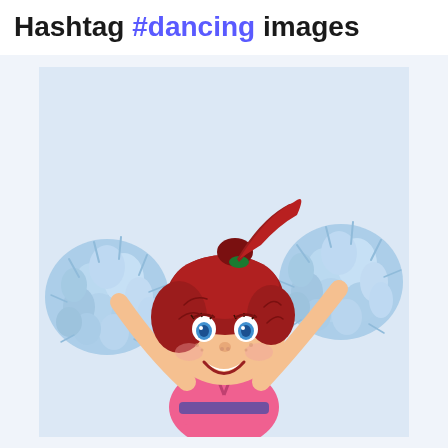Hashtag #dancing images
[Figure (illustration): Cartoon cheerleader girl with red hair in ponytail with green hair tie, holding two large light blue fluffy pom-poms raised to the sides, wearing a pink cheerleader outfit with purple belt, bright blue eyes, big smile, on a light blue-grey background.]